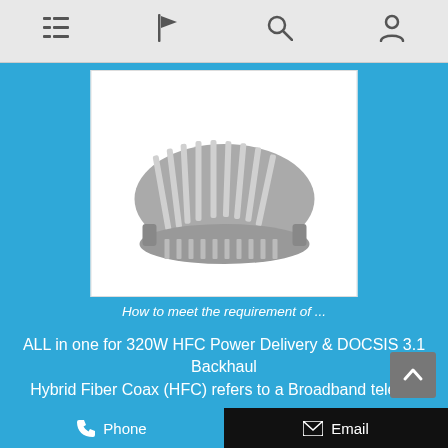Navigation bar with menu, flag, search, and account icons
[Figure (photo): Industrial heatsink/power module product photo shown in white box on blue background]
How to meet the requirement of ...
ALL in one for 320W HFC Power Delivery & DOCSIS 3.1 Backhaul Hybrid Fiber Coax (HFC) refers to a Broadband telec...
© Copyright - 2010-2021 : All Rights Reserved. Hot Products - Sitemap
Portable Spectrum Analyzer, Dc Power Analyzer, Fiber Optic 5g, Ecpri, 5g And Fiber, Fiber And 5g,